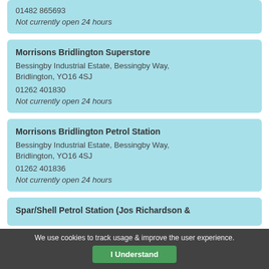01482 865693
Not currently open 24 hours
Morrisons Bridlington Superstore
Bessingby Industrial Estate, Bessingby Way, Bridlington, YO16 4SJ
01262 401830
Not currently open 24 hours
Morrisons Bridlington Petrol Station
Bessingby Industrial Estate, Bessingby Way, Bridlington, YO16 4SJ
01262 401836
Not currently open 24 hours
Spar/Shell Petrol Station (Jos Richardson &
We use cookies to track usage & improve the user experience.